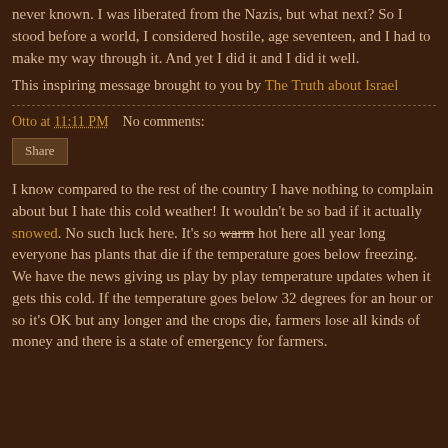never known. I was liberated from the Nazis, but what next? So I stood before a world, I considered hostile, age seventeen, and I had to make my way through it. And yet I did it and I did it well.
This inspiring message brought to you by The Truth about Israel
Otto at 11:11 PM    No comments:
Share
I know compared to the rest of the country I have nothing to complain about but I hate this cold weather! It wouldn't be so bad if it actually snowed. No such luck here. It's so warm hot here all year long everyone has plants that die if the temperature goes below freezing. We have the news giving us play by play temperature updates when it gets this cold. If the temperature goes below 32 degrees for an hour or so it's OK but any longer and the crops die, farmers lose all kinds of money and there is a state of emergency for farmers.